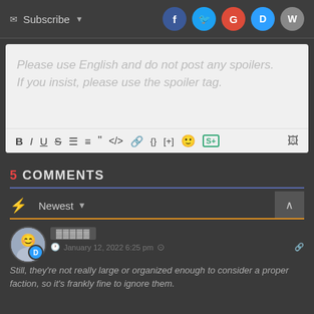Subscribe
[Figure (screenshot): Social login icons: Facebook, Twitter, Google, Disqus, WordPress]
Please use English and do not post any spoilers.
If you insist, please use the spoiler tag.
[Figure (screenshot): Text editor toolbar with formatting buttons: B, I, U, S, ordered list, unordered list, blockquote, code, link, {}, [+], emoji, spoiler, image]
5 COMMENTS
Newest
[Figure (screenshot): User avatar with Disqus badge]
January 12, 2022 6:25 pm
Still, they're not really large or organized enough to consider a proper faction, so it's frankly fine to ignore them.